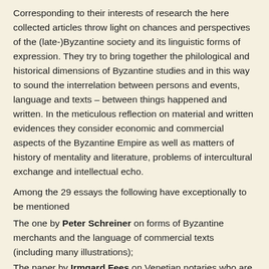Corresponding to their interests of research the here collected articles throw light on chances and perspectives of the (late-)Byzantine society and its linguistic forms of expression. They try to bring together the philological and historical dimensions of Byzantine studies and in this way to sound the interrelation between persons and events, language and texts – between things happened and written. In the meticulous reflection on material and written evidences they consider economic and commercial aspects of the Byzantine Empire as well as matters of history of mentality and literature, problems of intercultural exchange and intellectual echo.
Among the 29 essays the following have exceptionally to be mentioned
The one by Peter Schreiner on forms of Byzantine merchants and the language of commercial texts (including many illustrations);
The paper by Irmgard Fees on Venetian notaries who are detectable in the eastern Mediterranean from the 11th to the 13th century (with an extensive prosopographic register);